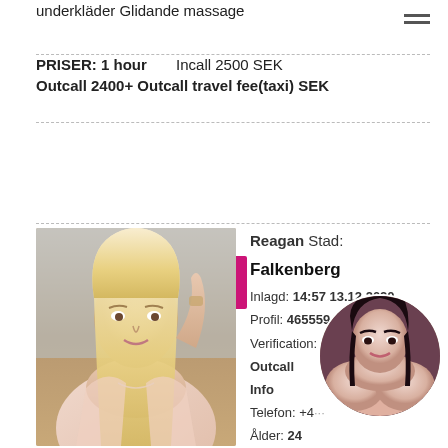underkläder Glidande massage
PRISER: 1 hour   Incall 2500 SEK
Outcall 2400+ Outcall travel fee(taxi) SEK
Prioritetsannons
[Figure (photo): Profile photo of a blonde woman in a light pink robe and lingerie]
Reagan Stad:
Falkenberg
Inlagd: 14:57 13.12.2020
Profil: 46555946361
Verification: Incall:
Outcall
Info
Telefon: +46...
Ålder: 24
[Figure (photo): Circular overlay photo of a dark-haired woman]